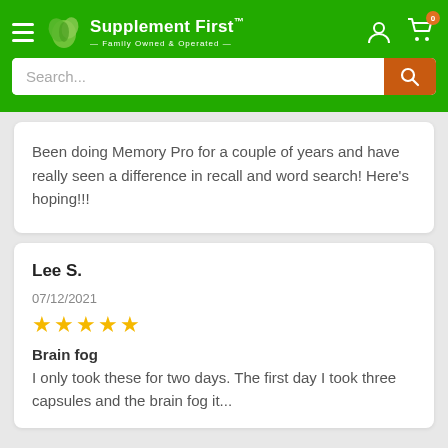Supplement First™ — Family Owned & Operated
Been doing Memory Pro for a couple of years and have really seen a difference in recall and word search! Here's hoping!!!
Lee S.
07/12/2021
★★★★★
Brain fog
I only took these for two days. The first day I took three capsules and the brain fog it...